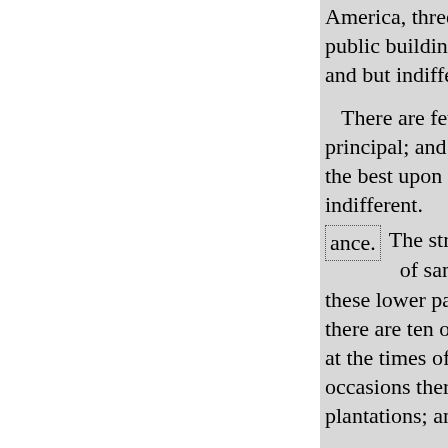America, three quarters of a mile public buildings, the college and and but indifferently built, the w
There are few public edifices principal; and they are far from b the best upon the continent; but t indifferent.
ance.   The streets are not pav of sand : however, the these lower parts have; that of be there are ten or twelve gentleme at the times of the assemblies, a occasions there are balls and oth plantations; and the town is in a
The situation of Virginia (accor about 76 degrees west long. fro the Atlantic Ocean, by Carolina Alleghenny on the west.
The climate is extremely fine, th generally for three months from this inconvenience: for the autu though there are now and then